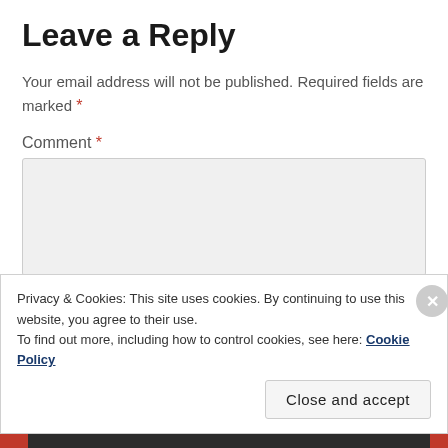Leave a Reply
Your email address will not be published. Required fields are marked *
Comment *
[Figure (screenshot): Empty comment text area input field with light gray background]
Privacy & Cookies: This site uses cookies. By continuing to use this website, you agree to their use.
To find out more, including how to control cookies, see here: Cookie Policy
Close and accept